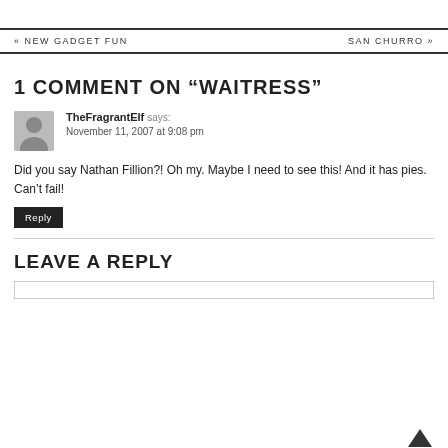« NEW GADGET FUN    SAN CHURRO »
1 COMMENT ON “WAITRESS”
TheFragrantElf says:
November 11, 2007 at 9:08 pm
Did you say Nathan Fillion?! Oh my. Maybe I need to see this! And it has pies. Can’t fail!
Reply
LEAVE A REPLY